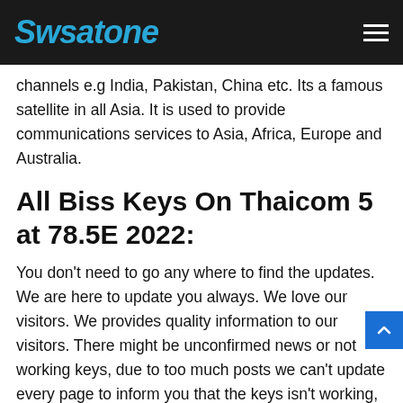Swsatone
channels e.g India, Pakistan, China etc. Its a famous satellite in all Asia. It is used to provide communications services to Asia, Africa, Europe and Australia.
All Biss Keys On Thaicom 5 at 78.5E 2022:
You don't need to go any where to find the updates. We are here to update you always. We love our visitors. We provides quality information to our visitors. There might be unconfirmed news or not working keys, due to too much posts we can't update every page to inform you that the keys isn't working, as the new key of that channel is launched we update that as soon as we can. You can search our posts on your favorite